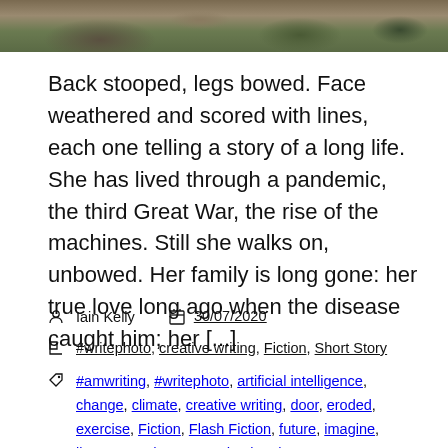[Figure (photo): Top portion of an outdoor photo showing ground, stones, and greenery/vegetation]
Back stooped, legs bowed. Face weathered and scored with lines, each one telling a story of a long life. She has lived through a pandemic, the third Great War, the rise of the machines. Still she walks on, unbowed. Her family is long gone: her true love long ago when the disease caught him; her [...]
Iain Kelly   30/07/2020
#writephoto, creative writing, Fiction, Short Story
#amwriting, #writephoto, artificial intelligence, change, climate, creative writing, door, eroded, exercise, Fiction, Flash Fiction, future, imagine, literature, odurate, pandemic, Short Story, story, survival, Thursday Photo Prompt, war,